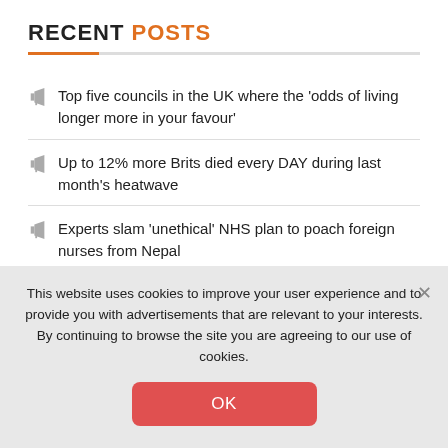RECENT POSTS
Top five councils in the UK where the 'odds of living longer more in your favour'
Up to 12% more Brits died every DAY during last month's heatwave
Experts slam 'unethical' NHS plan to poach foreign nurses from Nepal
This website uses cookies to improve your user experience and to provide you with advertisements that are relevant to your interests. By continuing to browse the site you are agreeing to our use of cookies.